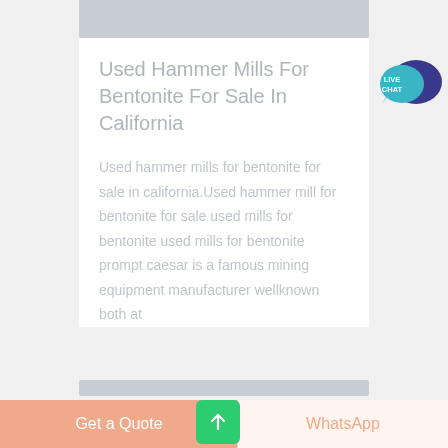[Figure (photo): Top portion of a gray image/photo strip at the top of the page]
Used Hammer Mills For Bentonite For Sale In California
Used hammer mills for bentonite for sale in california.Used hammer mill for bentonite for sale used mills for bentonite used mills for bentonite prompt caesar is a famous mining equipment manufacturer wellknown both at
[Figure (photo): Bottom gray image strip]
[Figure (other): Live Chat speech bubble icon in teal and dark blue, with text LIVE CHAT]
Get a Quote
WhatsApp